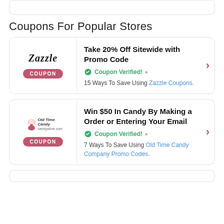Coupons For Popular Stores
[Figure (other): Zazzle coupon card with logo and COUPON badge]
Take 20% Off Sitewide with Promo Code
Coupon Verified! • 15 Ways To Save Using Zazzle Coupons.
[Figure (other): Old Time Candy coupon card with logo and COUPON badge]
Win $50 In Candy By Making a Order or Entering Your Email
Coupon Verified! • 7 Ways To Save Using Old Time Candy Company Promo Codes.